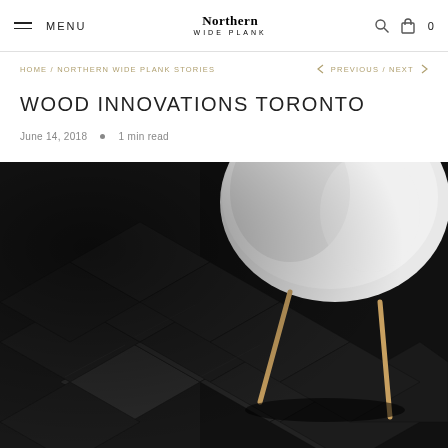MENU | Northern Wide Plank | 0
HOME / NORTHERN WIDE PLANK STORIES   < PREVIOUS / NEXT >
WOOD INNOVATIONS TORONTO
June 14, 2018  •  1 min read
[Figure (photo): Dark herringbone wood floor with a modern white shell chair on wooden legs, photographed from above at an angle in dramatic low-key lighting.]